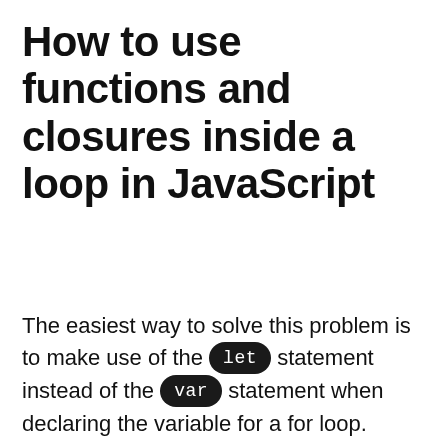How to use functions and closures inside a loop in JavaScript
The easiest way to solve this problem is to make use of the `let` statement instead of the `var` statement when declaring the variable for a for loop.
The reason why this works is because a